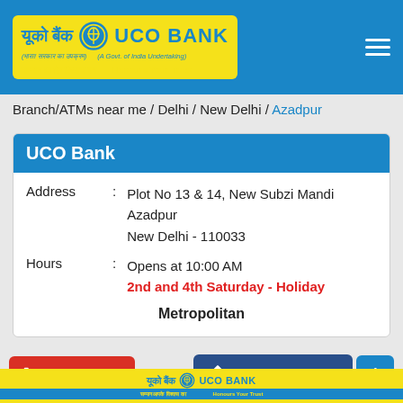[Figure (logo): UCO Bank logo on blue header background with yellow logo box containing Hindi and English text, hamburger menu icon on right]
Branch/ATMs near me / Delhi / New Delhi / Azadpur
| Address | : | Plot No 13 & 14, New Subzi Mandi
Azadpur
New Delhi - 110033 |
| Hours | : | Opens at 10:00 AM
2nd and 4th Saturday - Holiday |
|  |  | Metropolitan |
[Figure (screenshot): CALL button (red), DIRECTIONS button (dark blue), up-arrow button (blue)]
[Figure (logo): UCO Bank footer banner with yellow background and blue bar, Hindi and English text]